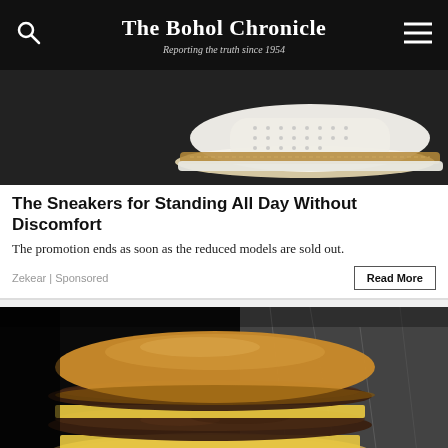The Bohol Chronicle
Reporting the truth since 1954
[Figure (photo): Close-up of a white perforated sneaker with tan/brown sole on dark background]
The Sneakers for Standing All Day Without Discomfort
The promotion ends as soon as the reduced models are sold out.
Zekear | Sponsored
[Figure (photo): Close-up of a double cheeseburger wrapped in foil on dark background]